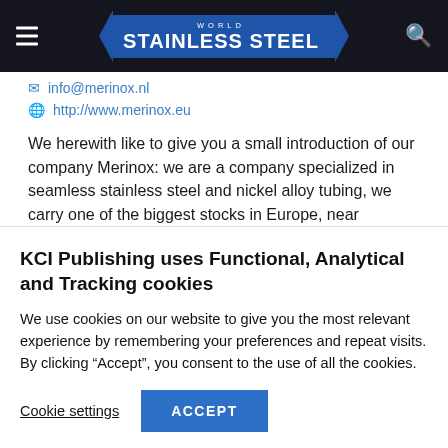Stainless Steel World
info@merinox.nl
http://www.merinox.eu
We herewith like to give you a small introduction of our company Merinox: we are a company specialized in seamless stainless steel and nickel alloy tubing, we carry one of the biggest stocks in Europe, near Rotterdam, The Netherlands. Our size range is from 0.10 mm d. up till 100 mm d. in … more
KCI Publishing uses Functional, Analytical and Tracking cookies
We use cookies on our website to give you the most relevant experience by remembering your preferences and repeat visits. By clicking “Accept”, you consent to the use of all the cookies.
Cookie settings
ACCEPT